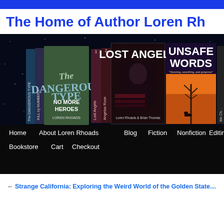The Home of Author Loren Rh…
[Figure (photo): Banner image showing a collection of book covers by author Loren Rhoads against a starfield background, including 'The Dangerous Type', 'Kill by Numbers', 'No More Heroes', 'Lost Angels', 'Angelus Rose', 'Unsafe Words', and a partially visible title. Navigation menu below shows: Home, About Loren Rhoads, Blog, Fiction, Nonfiction, Editing, Bookstore, Cart, Checkout.]
← Strange California: Exploring the Weird World of the Golden State…